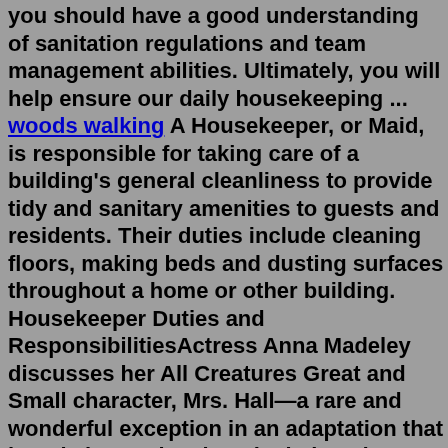you should have a good understanding of sanitation regulations and team management abilities. Ultimately, you will help ensure our daily housekeeping ... woods walking A Housekeeper, or Maid, is responsible for taking care of a building's general cleanliness to provide tidy and sanitary amenities to guests and residents. Their duties include cleaning floors, making beds and dusting surfaces throughout a home or other building. Housekeeper Duties and ResponsibilitiesActress Anna Madeley discusses her All Creatures Great and Small character, Mrs. Hall—a rare and wonderful exception in an adaptation that largely hews closely to its beloved source material ...Season Premiere Monday, September 19 | 9/8c. After witnessing a murder, Thony cleans the crime scene and begins living a double life. Season 1 (10 Episodes) • Drama • TV-14. Start Watching.#Stay Turn On This Channel#Please Subscribe to TOP LOVE TV for more Exclusive and ClassicTOP LOVE TV is the home of the latest and